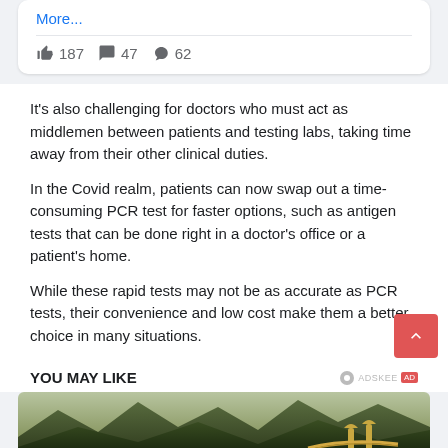More...
187  47  62
It's also challenging for doctors who must act as middlemen between patients and testing labs, taking time away from their other clinical duties.
In the Covid realm, patients can now swap out a time-consuming PCR test for faster options, such as antigen tests that can be done right in a doctor's office or a patient's home.
While these rapid tests may not be as accurate as PCR tests, their convenience and low cost make them a better choice in many situations.
YOU MAY LIKE
[Figure (photo): Aerial photo of green mountainous landscape with a golden bridge structure supported by large stone hands, visible in bottom right area.]